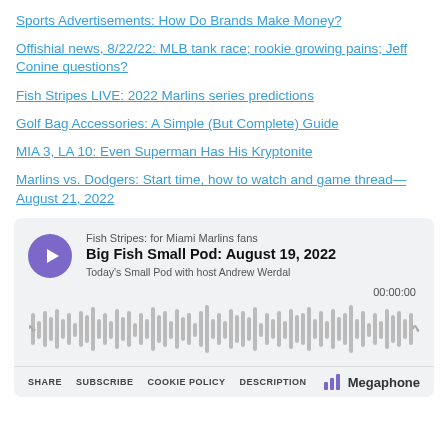Sports Advertisements: How Do Brands Make Money?
Offishial news, 8/22/22: MLB tank race; rookie growing pains; Jeff Conine questions?
Fish Stripes LIVE: 2022 Marlins series predictions
Golf Bag Accessories: A Simple (But Complete) Guide
MIA 3, LA 10: Even Superman Has His Kryptonite
Marlins vs. Dodgers: Start time, how to watch and game thread—August 21, 2022
[Figure (screenshot): Podcast widget for 'Big Fish Small Pod: August 19, 2022' from Fish Stripes: for Miami Marlins fans. Hosted by Andrew Werdal. Shows play button, waveform, time 00:00:00, and footer with SHARE, SUBSCRIBE, COOKIE POLICY, DESCRIPTION links and Megaphone branding.]